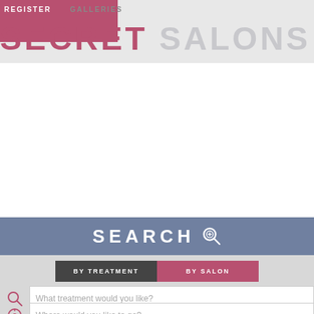REGISTER  GALLERIES
SECRET SALONS
SEARCH
BY TREATMENT  BY SALON
What treatment would you like?
Where would you like to go?